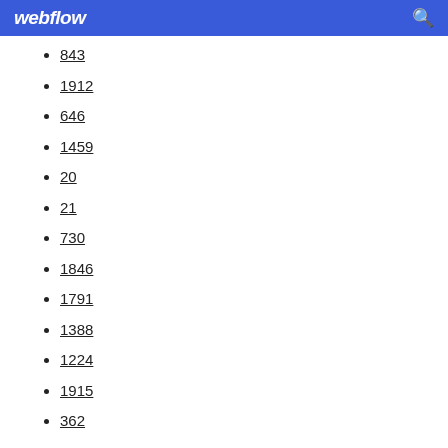webflow
843
1912
646
1459
20
21
730
1846
1791
1388
1224
1915
362